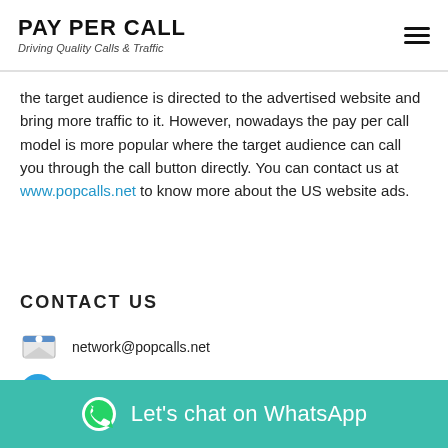PAY PER CALL
Driving Quality Calls & Traffic
the target audience is directed to the advertised website and bring more traffic to it. However, nowadays the pay per call model is more popular where the target audience can call you through the call button directly. You can contact us at www.popcalls.net to know more about the US website ads.
CONTACT US
network@popcalls.net
@Popundertraffic
+91 9999 670 830
Let's chat on WhatsApp